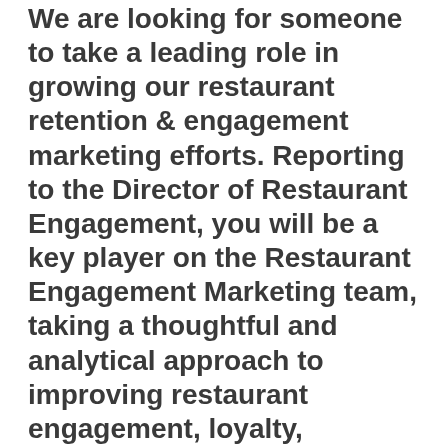We are looking for someone to take a leading role in growing our restaurant retention & engagement marketing efforts. Reporting to the Director of Restaurant Engagement, you will be a key player on the Restaurant Engagement Marketing team, taking a thoughtful and analytical approach to improving restaurant engagement, loyalty, retention and advocacy across the entire restaurant lifecycle. You will be a strategic voice at the table, helping us to communicate our broader restaurant marketing strategy and tactics in line with company objectives and how to get there.
This is a highly collaborative role, working in the Restaurant Engagement Marketing